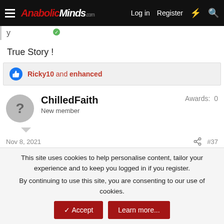AnabolicMinds.com — Log in | Register
True Story !
Ricky10 and enhanced
ChilledFaith — New member — Awards: 0
Nov 8, 2021  #37
This site uses cookies to help personalise content, tailor your experience and to keep you logged in if you register. By continuing to use this site, you are consenting to our use of cookies.
Topic of the Week: The Single Best Supplement You've Taken